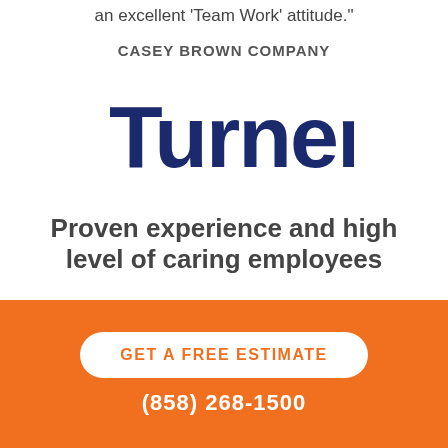an excellent 'Team Work' attitude."
CASEY BROWN COMPANY
[Figure (logo): Turner company logo in dark navy blue bold serif/sans font]
Proven experience and high level of caring employees
"Watkins is a strong trade partner with proven experience and high level of
GET A FREE ESTIMATE
(858) 268-1500